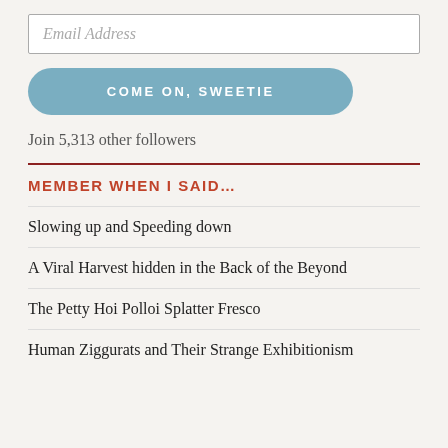Email Address
COME ON, SWEETIE
Join 5,313 other followers
MEMBER WHEN I SAID…
Slowing up and Speeding down
A Viral Harvest hidden in the Back of the Beyond
The Petty Hoi Polloi Splatter Fresco
Human Ziggurats and Their Strange Exhibitionism